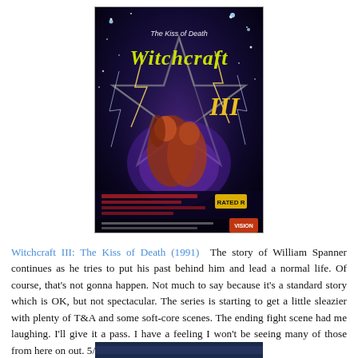[Figure (photo): Movie cover/poster for Witchcraft III: The Kiss of Death (1991) showing dark supernatural imagery with lightning, a pentagram star, and dramatic figures against a dark blue/black background with yellow-green stylized title text.]
Witchcraft III: The Kiss of Death (1991)  The story of William Spanner continues as he tries to put his past behind him and lead a normal life. Of course, that's not gonna happen. Not much to say because it's a standard story which is OK, but not spectacular. The series is starting to get a little sleazier with plenty of T&A and some soft-core scenes. The ending fight scene had me laughing. I'll give it a pass. I have a feeling I won't be seeing many of those from here on out. 5/10.
[Figure (photo): Partial bottom strip of another movie image, mostly dark blue/black, cropped at bottom of page.]